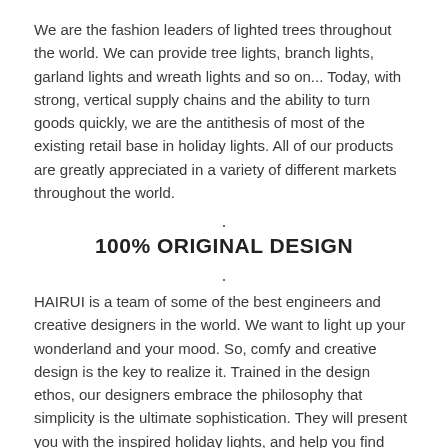We are the fashion leaders of lighted trees throughout the world. We can provide tree lights, branch lights, garland lights and wreath lights and so on... Today, with strong, vertical supply chains and the ability to turn goods quickly, we are the antithesis of most of the existing retail base in holiday lights. All of our products are greatly appreciated in a variety of different markets throughout the world.
100% ORIGINAL DESIGN
HAIRUI is a team of some of the best engineers and creative designers in the world. We want to light up your wonderland and your mood. So, comfy and creative design is the key to realize it. Trained in the design ethos, our designers embrace the philosophy that simplicity is the ultimate sophistication. They will present you with the inspired holiday lights, and help you find suitable lights for your holiday.